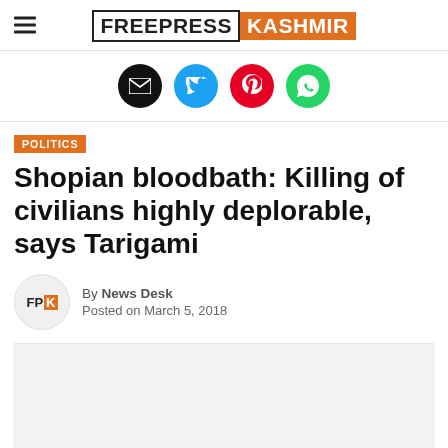FREEPRESS KASHMIR
[Figure (illustration): Social sharing icons: email (black), Twitter (blue), Pinterest (red), WhatsApp (green)]
POLITICS
Shopian bloodbath: Killing of civilians highly deplorable, says Tarigami
By News Desk
Posted on March 5, 2018
[Figure (photo): Article image placeholder (light gray background)]